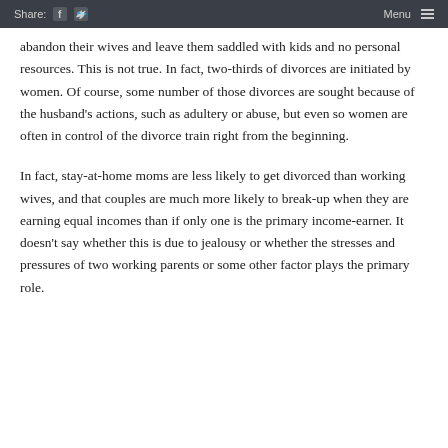Share: [facebook] [twitter]   Menu ≡
abandon their wives and leave them saddled with kids and no personal resources. This is not true. In fact, two-thirds of divorces are initiated by women. Of course, some number of those divorces are sought because of the husband's actions, such as adultery or abuse, but even so women are often in control of the divorce train right from the beginning.
In fact, stay-at-home moms are less likely to get divorced than working wives, and that couples are much more likely to break-up when they are earning equal incomes than if only one is the primary income-earner. It doesn't say whether this is due to jealousy or whether the stresses and pressures of two working parents or some other factor plays the primary role.